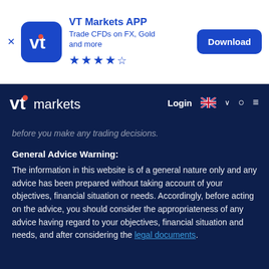[Figure (screenshot): VT Markets APP advertisement banner with blue rounded square icon showing 'vt' logo, text 'VT Markets APP', 'Trade CFDs on FX, Gold and more', star rating (4.5 stars), and a blue 'Download' button]
[Figure (screenshot): VT markets navigation bar on dark navy background with logo, Login link, UK flag dropdown, search icon, and hamburger menu]
before you make any trading decisions.
General Advice Warning:
The information in this website is of a general nature only and any advice has been prepared without taking account of your objectives, financial situation or needs. Accordingly, before acting on the advice, you should consider the appropriateness of any advice having regard to your objectives, financial situation and needs, and after considering the legal documents.